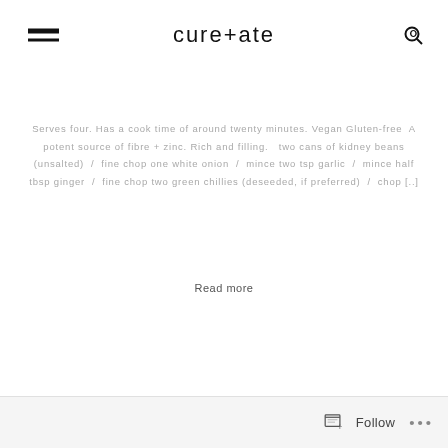cure+ate
Serves four. Has a cook time of around twenty minutes. Vegan Gluten-free  A potent source of fibre + zinc. Rich and filling.   two cans of kidney beans (unsalted)  /  fine chop one white onion  /  mince two tsp garlic  /  mince half tbsp ginger  /  fine chop two green chillies (deseeded, if preferred)  /  chop [..]
Read more
Follow ...